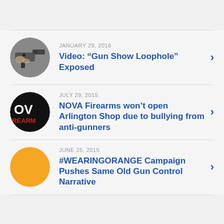JANUARY 29, 2016 — Video: “Gun Show Loophole” Exposed
JULY 29, 2015 — NOVA Firearms won’t open Arlington Shop due to bullying from anti-gunners
JUNE 25, 2015 — #WEARINGORANGE Campaign Pushes Same Old Gun Control Narrative